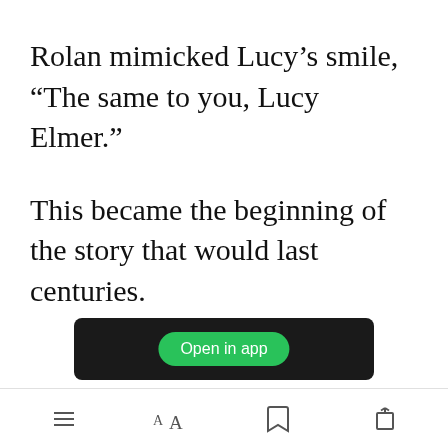Rolan mimicked Lucy’s smile, “The same to you, Lucy Elmer.”
This became the beginning of the story that would last centuries.
[Figure (screenshot): A dark rounded button labeled 'Next Chapter' with a green 'Open in app' badge overlaid on top of it]
[Figure (screenshot): Mobile reading app toolbar with hamburger menu, font size (AA), bookmark, and share icons]